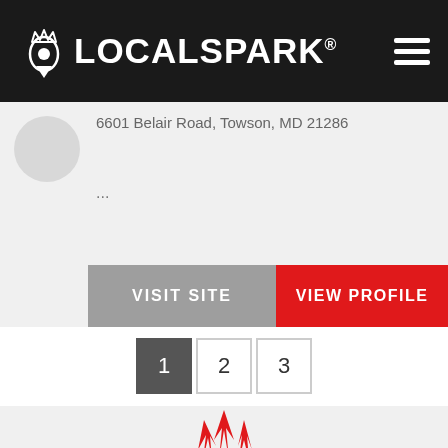LOCALSPARK
6601 Belair Road, Towson, MD 21286
...
VISIT SITE
VIEW PROFILE
1
2
3
[Figure (logo): LocalSpark logo partial, red flame icon at bottom of page]